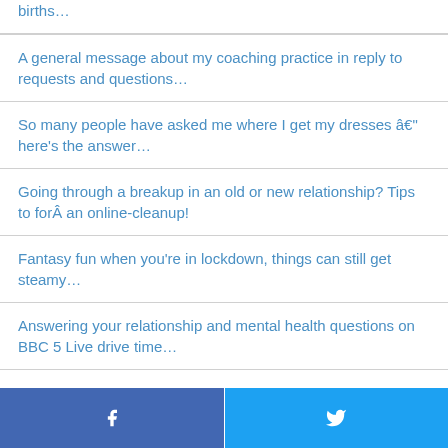births…
A general message about my coaching practice in reply to requests and questions…
So many people have asked me where I get my dresses â€" here's the answer…
Going through a breakup in an old or new relationship? Tips to forÂ an online-cleanup!
Fantasy fun when you're in lockdown, things can still get steamy…
Answering your relationship and mental health questions on BBC 5 Live drive time…